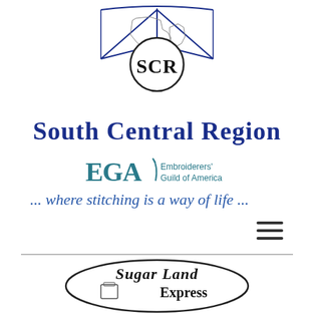[Figure (logo): SCR South Central Region emblem with state outlines, decorative blue triangular banner, and 'SCR' lettering in center circle]
South Central Region
[Figure (logo): EGA Embroiderers' Guild of America logo with stylized needle and text]
... where stitching is a way of life ...
[Figure (illustration): Hamburger menu icon (three horizontal lines)]
[Figure (logo): Sugar Land Express oval logo with script lettering and coffee cup illustration]